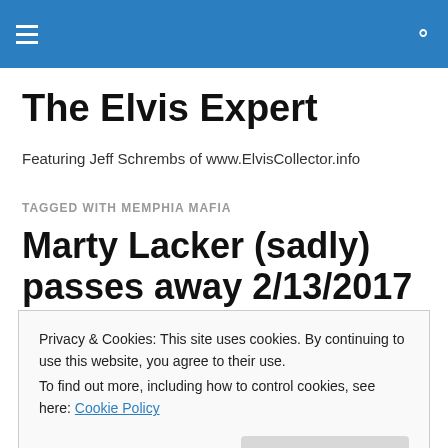The Elvis Expert — site header navigation bar
The Elvis Expert
Featuring Jeff Schrembs of www.ElvisCollector.info
TAGGED WITH MEMPHIA MAFIA
Marty Lacker (sadly) passes away 2/13/2017
Privacy & Cookies: This site uses cookies. By continuing to use this website, you agree to their use.
To find out more, including how to control cookies, see here: Cookie Policy
Close and accept